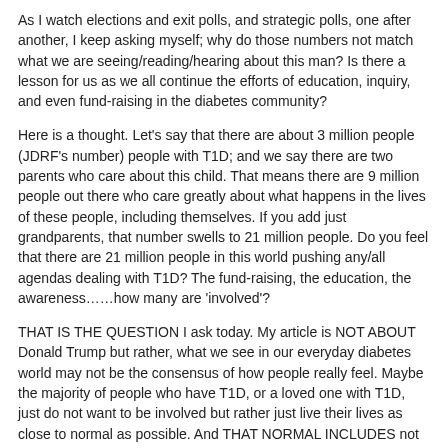As I watch elections and exit polls, and strategic polls, one after another, I keep asking myself; why do those numbers not match what we are seeing/reading/hearing about this man?  Is there a lesson for us as we all continue the efforts of education, inquiry, and even fund-raising in the diabetes community?
Here is a thought.  Let's say that there are about 3 million people (JDRF's number) people with T1D; and we say there are two parents who care about this child.  That means there are 9 million people out there who care greatly about what happens in the lives of these people, including themselves.  If you add just grandparents, that number swells to 21 million people.  Do you feel that there are 21 million people in this world pushing any/all agendas dealing with T1D?  The fund-raising, the education, the awareness……how many are 'involved'?
THAT IS THE QUESTION I ask today.  My article is NOT ABOUT Donald Trump but rather, what we see in our everyday diabetes world may not be the consensus of how people really feel.  Maybe the majority of people who have T1D, or a loved one with T1D, just do not want to be involved but rather just live their lives as close to normal as possible.  And THAT NORMAL INCLUDES not being involved………..anywhere in diabetes' causes, but just living.  Are they wrong to feel/act in such a way?
Are we a power of 21 million people………or anywhere near that number?  Should we be?   What are your thoughts (just do not use this time for political